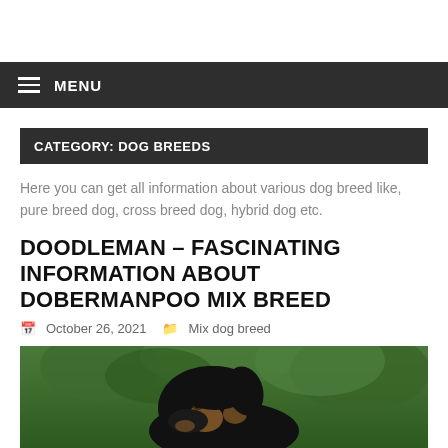MENU
CATEGORY: DOG BREEDS
Here you can get all information about various dog breed like, pure breed dog, cross breed dog, hybrid dog etc.
DOODLEMAN – FASCINATING INFORMATION ABOUT DOBERMANPOO MIX BREED
October 26, 2021   Mix dog breed
[Figure (photo): Close-up photo of a Doodleman (Dobermanpoo mix breed) dog with black and tan coloring, looking at the camera, with green foliage in the background.]